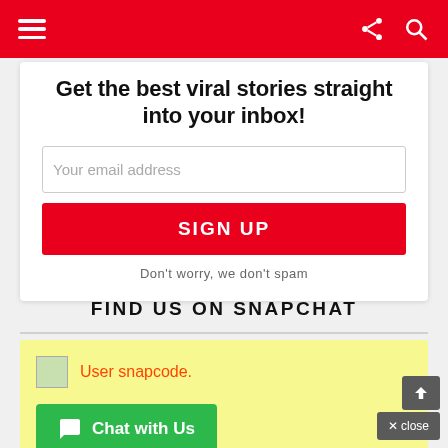Navigation bar with menu, share, and search icons
Get the best viral stories straight into your inbox!
Your email address
SIGN UP
Don't worry, we don't spam
FIND US ON SNAPCHAT
[Figure (other): User snapcode image placeholder]
User snapcode.
Chat with Us